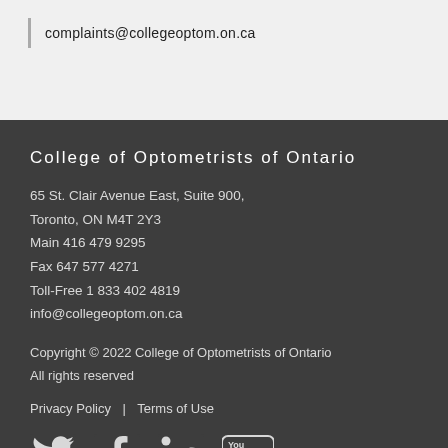complaints@collegeoptom.on.ca
College of Optometrists of Ontario
65 St. Clair Avenue East, Suite 900,
Toronto, ON M4T 2Y3
Main 416 479 9295
Fax 647 577 4271
Toll-Free 1 833 402 4819
info@collegeoptom.on.ca
Copyright © 2022 College of Optometrists of Ontario
All rights reserved
Privacy Policy   |   Terms of Use
[Figure (other): Social media icons: Twitter, Facebook, LinkedIn, YouTube]